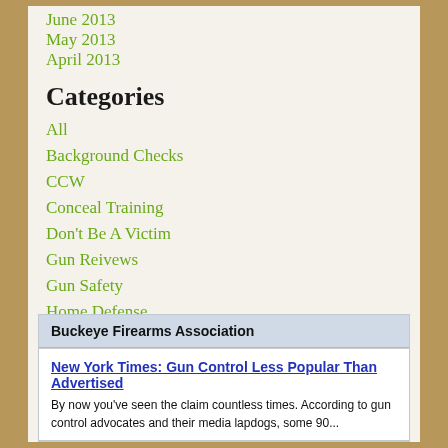June 2013
May 2013
April 2013
Categories
All
Background Checks
CCW
Conceal Training
Don't Be A Victim
Gun Reivews
Gun Safety
Home Defense
Personal Protection
Buckeye Firearms Association
New York Times: Gun Control Less Popular Than Advertised
By now you've seen the claim countless times. According to gun control advocates and their media lapdogs, some 90...